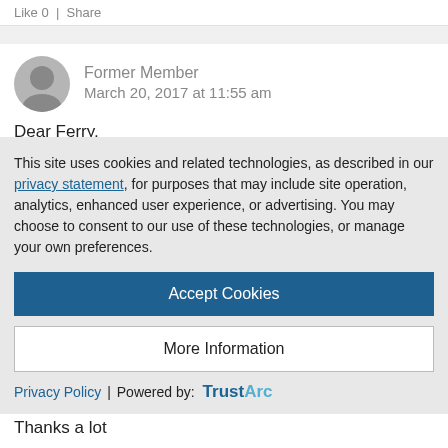Like 0 | Share
Former Member
March 20, 2017 at 11:55 am
Dear Ferry,

Thank you for this post, I tried to replicate this application but I think the connection between my Hana server and the android application is not working fine.
This site uses cookies and related technologies, as described in our privacy statement, for purposes that may include site operation, analytics, enhanced user experience, or advertising. You may choose to consent to our use of these technologies, or manage your own preferences.
Accept Cookies
More Information
Privacy Policy | Powered by: TrustArc
Thanks a lot